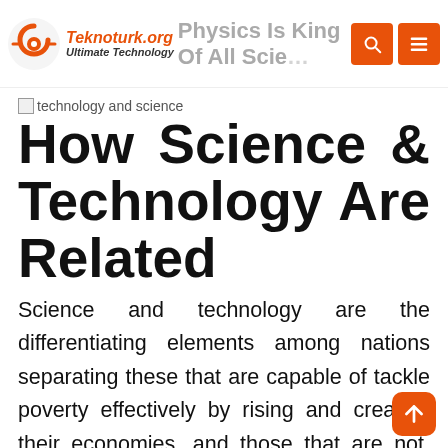Teknoturk.org Ultimate Technology | Physics Is King Of All Sciences, Says Nobel Laureate Gross
[Figure (logo): Teknoturk.org logo with orange swirl icon]
How Science & Technology Are Related
Science and technology are the differentiating elements among nations separating these that are capable of tackle poverty effectively by rising and creating their economies, and those that are not. The level of countries' financial development relies upon to a large extent on their capability to know and apply insights from science and technology and use them